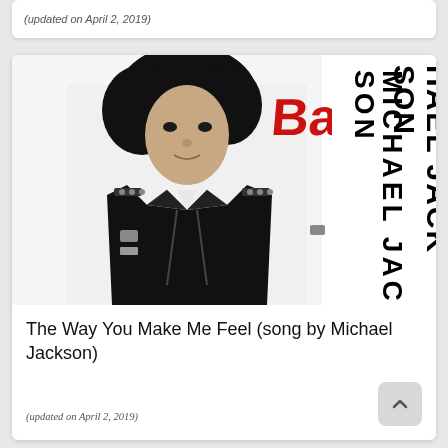(updated on April 2, 2019)
[Figure (photo): Michael Jackson Bad album cover showing Michael Jackson in black leather jacket with the word 'Bad' in red graffiti lettering and 'MICHAEL JACKSON' in large black vertical text on white background on the right side]
The Way You Make Me Feel (song by Michael Jackson)
(updated on April 2, 2019)